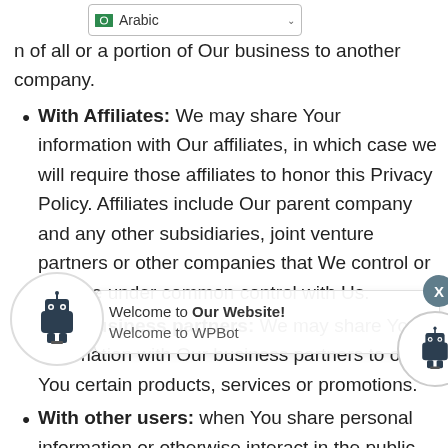[Figure (screenshot): Language selector dropdown showing Arabic with flag icon]
n of all or a portion of Our business to another company.
With Affiliates: We may share Your information with Our affiliates, in which case we will require those affiliates to honor this Privacy Policy. Affiliates include Our parent company and any other subsidiaries, joint venture partners or other companies that We control or that are under common control with Us.
With business partners: We may share Your information with Our business partners to offer You certain products, services or promotions.
With other users: when You share personal information or otherwise interact in the public areas with other users, such information may be viewed by all users and may be publicly distributed outside. If You interact with other users or register through a Third-Party Social
[Figure (screenshot): WPBot chatbot popup with robot avatar, close button, and welcome message: Welcome to Our Website! / Welcome to WPBot]